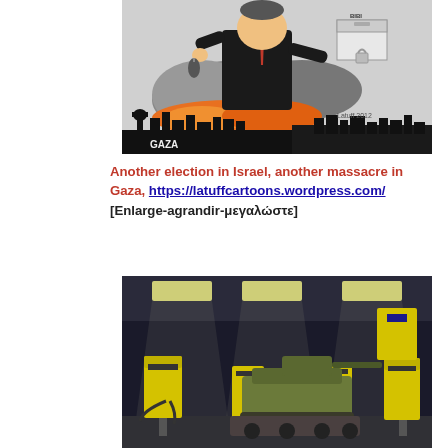[Figure (illustration): Political cartoon showing a caricatured figure in a black suit dropping a bomb on Gaza (shown as a burning cityscape with mosque silhouettes labeled 'GAZA'), while a ballot box labeled 'BIBI' sits nearby. Signed 'Latuff 2012'.]
Another election in Israel, another massacre in Gaza, https://latuffcartoons.wordpress.com/ [Enlarge-agrandir-μεγαλώστε]
[Figure (photo): Nighttime photograph of a gas station with yellow fuel pumps and canopy lighting, with a military tank visible in the background on a transport vehicle.]